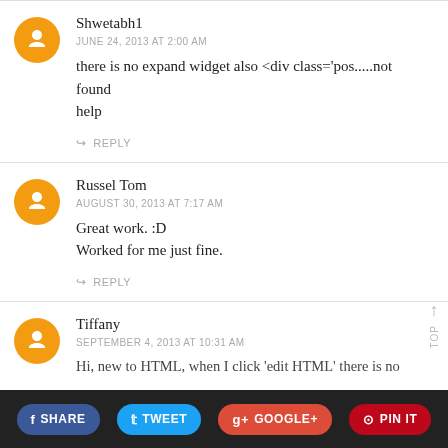Shwetabh1 — JUNE 24, 2013 AT 2:00 AM — there is no expand widget also <div class='pos.....not found help
Russel Tom — AUGUST 30, 2013 AT 7:17 AM — Great work. :D Worked for me just fine.
Tiffany — SEPTEMBER 4, 2013 AT 10:31 AM — Hi, new to HTML, when I click 'edit HTML' there is no
SHARE  TWEET  GOOGLE+  PIN IT